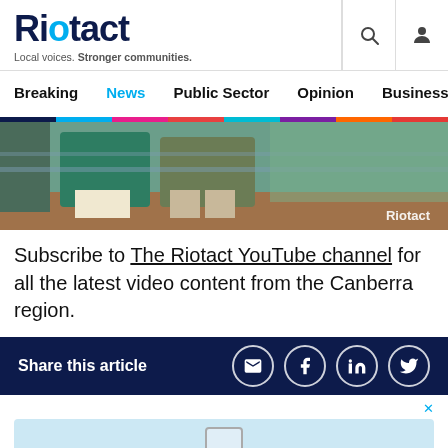Riotact — Local voices. Stronger communities.
Breaking  News  Public Sector  Opinion  Business  R
[Figure (photo): Two people viewed from behind standing at a fence, one in a teal/green shirt and one in olive, with mulch ground cover and outdoor setting. Riotact watermark in bottom right.]
Subscribe to The Riotact YouTube channel for all the latest video content from the Canberra region.
Share this article
[Figure (other): Advertisement placeholder area with close button (×) and a light blue ad box with an icon]